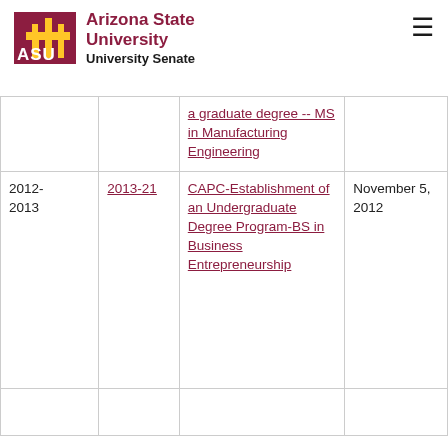Arizona State University — University Senate
| Year | Resolution | Description | Date |
| --- | --- | --- | --- |
|  |  | a graduate degree -- MS in Manufacturing Engineering |  |
| 2012-2013 | 2013-21 | CAPC-Establishment of an Undergraduate Degree Program-BS in Business Entrepreneurship | November 5, 2012 |
|  |  |  |  |